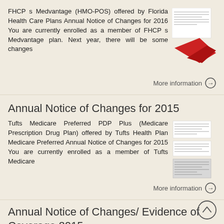FHCP s Medvantage (HMO-POS) offered by Florida Health Care Plans Annual Notice of Changes for 2016 You are currently enrolled as a member of FHCP s Medvantage plan. Next year, there will be some changes
More information →
Annual Notice of Changes for 2015
Tufts Medicare Preferred PDP Plus (Medicare Prescription Drug Plan) offered by Tufts Health Plan Medicare Preferred Annual Notice of Changes for 2015 You are currently enrolled as a member of Tufts Medicare
More information →
Annual Notice of Changes/ Evidence of Coverage 2015